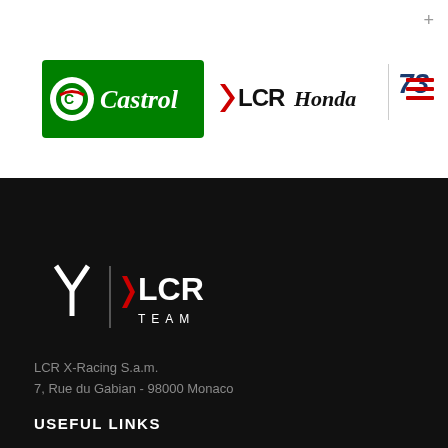[Figure (logo): Castrol green and white logo with circular emblem on left]
[Figure (logo): LCR Honda text logo in black with red accent]
[Figure (logo): Number 73 in blue italic style, hamburger menu in red]
[Figure (logo): LCR Team logo in white on dark background - fork/Y shaped icon with LCR TEAM text]
LCR X-Racing S.a.m.
7, Rue du Gabian - 98000 Monaco
USEFUL LINKS